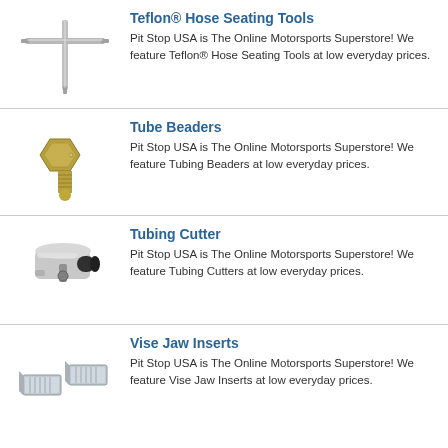[Figure (photo): Teflon hose seating tool - a T-shaped metal tool with crossbar handle]
Teflon® Hose Seating Tools
Pit Stop USA is The Online Motorsports Superstore! We feature Teflon® Hose Seating Tools at low everyday prices.
[Figure (photo): Tube beader - a brass/gold colored threaded fitting tool]
Tube Beaders
Pit Stop USA is The Online Motorsports Superstore! We feature Tubing Beaders at low everyday prices.
[Figure (photo): Tubing cutter - a chrome metal cutting tool with black knob]
Tubing Cutter
Pit Stop USA is The Online Motorsports Superstore! We feature Tubing Cutters at low everyday prices.
[Figure (photo): Vise jaw inserts - two chrome/silver rectangular jaw inserts]
Vise Jaw Inserts
Pit Stop USA is The Online Motorsports Superstore! We feature Vise Jaw Inserts at low everyday prices.